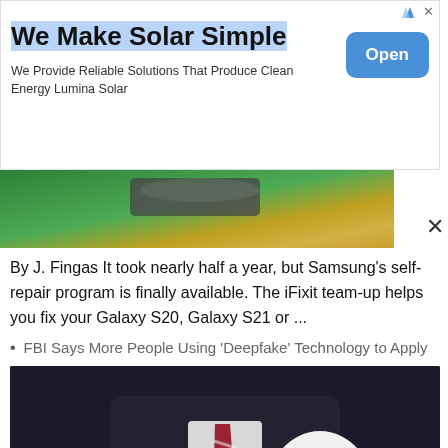[Figure (infographic): Advertisement banner for Lumina Solar with title 'We Make Solar Simple', subtitle text, and an Open button]
We Make Solar Simple
We Provide Reliable Solutions That Produce Clean Energy Lumina Solar
[Figure (photo): Partial view of a green car, cropped image showing the rear/side portion]
By J. Fingas It took nearly half a year, but Samsung’s self-repair program is finally available. The iFixit team-up helps you fix your Galaxy S20, Galaxy S21 or ...
FBI Says More People Using ‘Deepfake’ Technology to Apply for Jobs
[Figure (photo): A person in a dark suit holding a white blank face mask in front of their face, wearing a striped red and white tie]